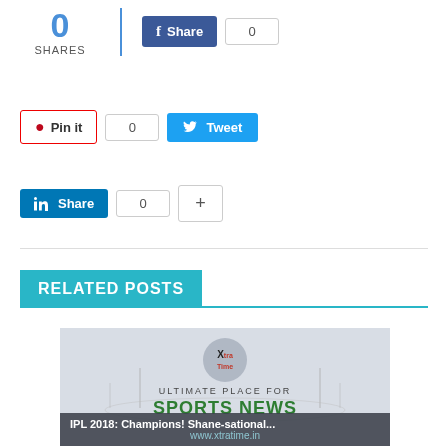0 SHARES
[Figure (screenshot): Social share buttons: Facebook Share (0), Pinterest Pin it (0), Twitter Tweet, LinkedIn Share (0), plus button]
RELATED POSTS
[Figure (screenshot): Related post card showing XtraTime logo with 'ULTIMATE PLACE FOR SPORTS NEWS' text and caption 'IPL 2018: Champions! Shane-sational...' with www.xtratime.in URL]